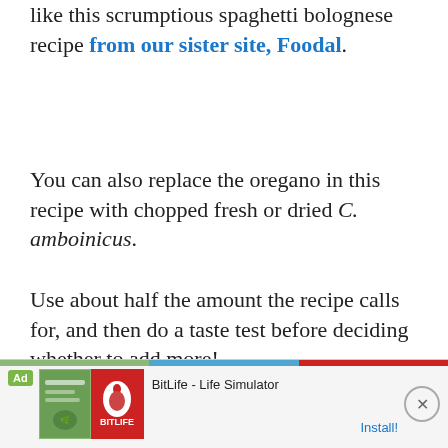like this scrumptious spaghetti bolognese recipe from our sister site, Foodal.
You can also replace the oregano in this recipe with chopped fresh or dried C. amboinicus.
Use about half the amount the recipe calls for, and then do a taste test before deciding whether to add more!
Or, try it at half strength in place of the oregano in this recipe for slow coo...
[Figure (screenshot): Ad banner for BitLife - Life Simulator app showing Ad label, app icon images, app name, and Install button with close (X) button]